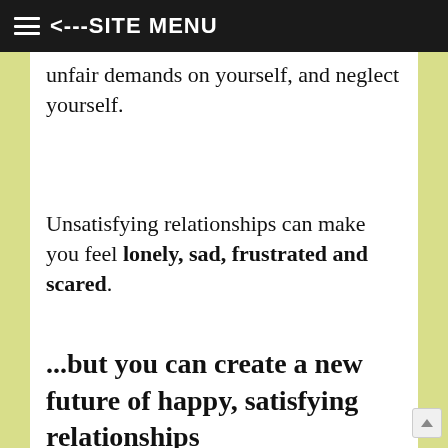≡ <---SITE MENU
unfair demands on yourself, and neglect yourself.
Unsatisfying relationships can make you feel lonely, sad, frustrated and scared.
...but you can create a new future of happy, satisfying relationships